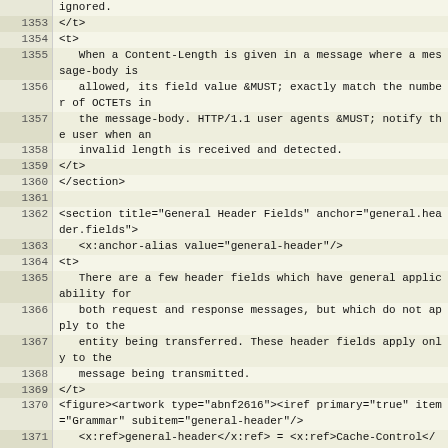| Line | Code |
| --- | --- |
|  | ignored. |
| 1353 | </t> |
| 1354 | <t> |
| 1355 |    When a Content-Length is given in a message where a message-body is |
| 1356 |    allowed, its field value &MUST; exactly match the number of OCTETs in |
| 1357 |    the message-body. HTTP/1.1 user agents &MUST; notify the user when an |
| 1358 |    invalid length is received and detected. |
| 1359 | </t> |
| 1360 | </section> |
| 1361 |  |
| 1362 | <section title="General Header Fields" anchor="general.header.fields"> |
| 1363 |    <x:anchor-alias value="general-header"/> |
| 1364 | <t> |
| 1365 |    There are a few header fields which have general applicability for |
| 1366 |    both request and response messages, but which do not apply to the |
| 1367 |    entity being transferred. These header fields apply only to the |
| 1368 |    message being transmitted. |
| 1369 | </t> |
| 1370 | <figure><artwork type="abnf2616"><iref primary="true" item="Grammar" subitem="general-header"/> |
| 1371 |    <x:ref>general-header</x:ref> = <x:ref>Cache-Control</x:ref>            ; &header-cache-control; |
| 1372 |                 / <x:ref>Connection</x:ref>     ; <xref target="header.connection"/> |
| 1373 |                 / <x:ref>Date</x:ref>     ; <xref target="header.date"/> |
| 1374 |                 / <x:ref>Pragma</x:ref> |